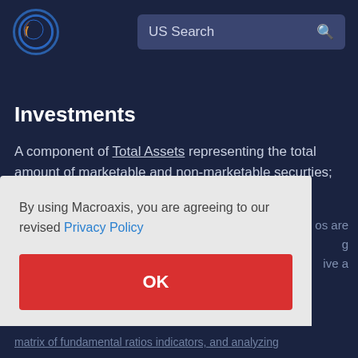[Figure (logo): Macroaxis logo: globe icon with orange and blue colors]
US Search
Investments
A component of Total Assets representing the total amount of marketable and non-marketable securties; loans
By using Macroaxis, you are agreeing to our revised Privacy Policy
OK
matrix of fundamental ratios indicators, and analyzing